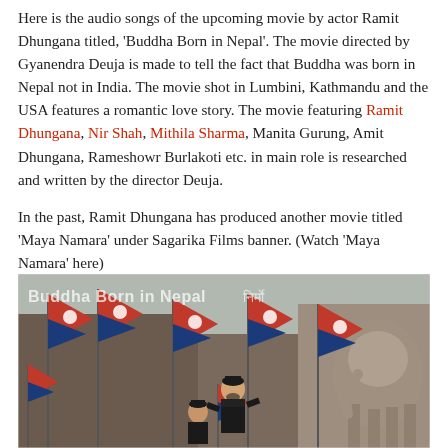Here is the audio songs of the upcoming movie by actor Ramit Dhungana titled, 'Buddha Born in Nepal'. The movie directed by Gyanendra Deuja is made to tell the fact that Buddha was born in Nepal not in India. The movie shot in Lumbini, Kathmandu and the USA features a romantic love story. The movie featuring Ramit Dhungana, Nir Shah, Mithila Sharma, Manita Gurung, Amit Dhungana, Rameshowr Burlakoti etc. in main role is researched and written by the director Deuja.
In the past, Ramit Dhungana has produced another movie titled 'Maya Namara' under Sagarika Films banner. (Watch 'Maya Namara' here)
[Figure (photo): A scene from the movie 'Buddha Born in Nepal' showing actors in traditional Nepali dress (Dhaka topi and suit) surrounded by Nepali national flags (red with blue border and white moon and sun emblem) and a large stone elephant statue in the background. The text 'Buddha Born in Nepal' and Nepali script appears overlaid on the image.]